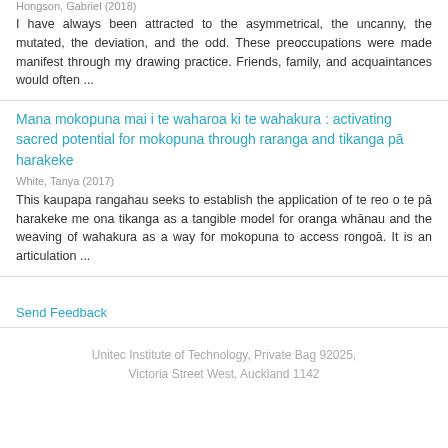Hongson, Gabriel (2018)
I have always been attracted to the asymmetrical, the uncanny, the mutated, the deviation, and the odd. These preoccupations were made manifest through my drawing practice. Friends, family, and acquaintances would often ...
Mana mokopuna mai i te waharoa ki te wahakura : activating sacred potential for mokopuna through raranga and tikanga pā harakeke
White, Tanya (2017)
This kaupapa rangahau seeks to establish the application of te reo o te pā harakeke me ona tikanga as a tangible model for oranga whānau and the weaving of wahakura as a way for mokopuna to access rongoā. It is an articulation ...
Send Feedback
Unitec Institute of Technology, Private Bag 92025, Victoria Street West, Auckland 1142